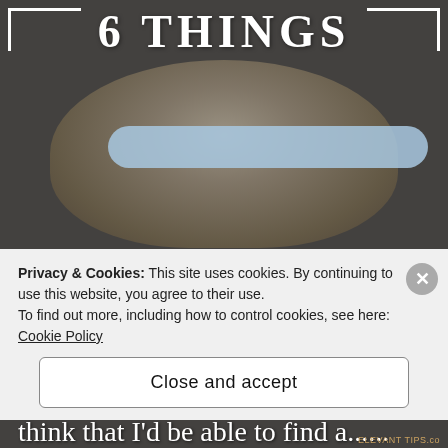[Figure (photo): Background photo of a young child sitting, wearing a colorful striped dress, set against a brick/stone surface. Dark overlay applied.]
6 THINGS
Oh muh gosh! You guys! Why am I struggling so hard to get back into routine?!?! Like seriously, you'd think that I'd be able to find a......
Privacy & Cookies: This site uses cookies. By continuing to use this website, you agree to their use.
To find out more, including how to control cookies, see here:
Cookie Policy
Close and accept
ELEVANT TIPS.cc